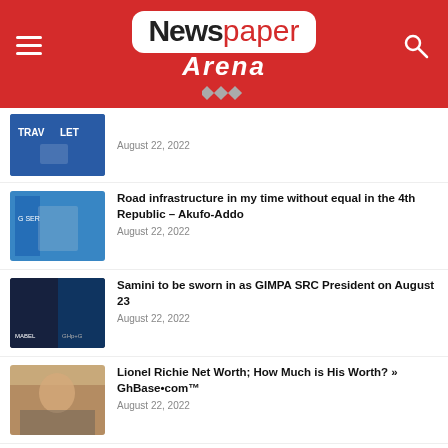Newspaper Arena
[Figure (photo): Sports action photo thumbnail - soccer/football players]
August 22, 2022
Road infrastructure in my time without equal in the 4th Republic – Akufo-Addo
[Figure (photo): Photo of person speaking at podium with Ghana government logo]
August 22, 2022
Samini to be sworn in as GIMPA SRC President on August 23
[Figure (photo): Photo of music artists Samini and another person]
August 22, 2022
Lionel Richie Net Worth; How Much is His Worth? » GhBase•com™
[Figure (photo): Photo of Lionel Richie smiling, seated]
August 22, 2022